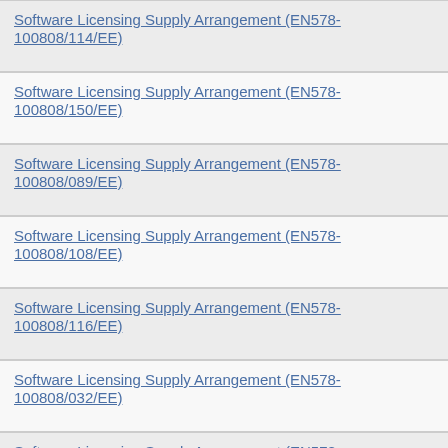Software Licensing Supply Arrangement (EN578-100808/114/EE)
Software Licensing Supply Arrangement (EN578-100808/150/EE)
Software Licensing Supply Arrangement (EN578-100808/089/EE)
Software Licensing Supply Arrangement (EN578-100808/108/EE)
Software Licensing Supply Arrangement (EN578-100808/116/EE)
Software Licensing Supply Arrangement (EN578-100808/032/EE)
Software Licensing Supply Arrangement (EN578-100808/142/EE)
Software Licensing Supply Arrangement (EN578-100808/117/EE)
Software Licensing Supply Arrangement (EN578-100808/137/EE)
Software Licensing Supply Arrangement (EN578-100808/076/EE)